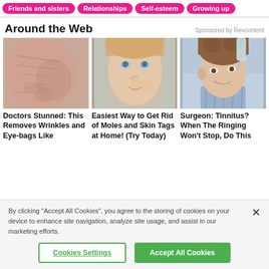Friends and sisters | Relationships | Self-esteem | Growing up
Around the Web
Sponsored by Revcontent
[Figure (photo): Close-up of elderly wrinkled skin near nose and mouth]
Doctors Stunned: This Removes Wrinkles and Eye-bags Like
[Figure (photo): Young woman with blonde hair touching her face near nose]
Easiest Way to Get Rid of Moles and Skin Tags at Home! (Try Today)
[Figure (photo): Young man tilting head pouring liquid into ear]
Surgeon: Tinnitus? When The Ringing Won't Stop, Do This
By clicking “Accept All Cookies”, you agree to the storing of cookies on your device to enhance site navigation, analyze site usage, and assist in our marketing efforts.
Cookies Settings
Accept All Cookies